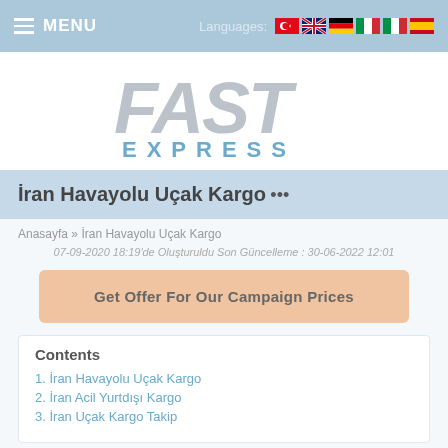MENU  Languages: [flags: TR, EN, DE, IT, IT, ES]
[Figure (logo): Fast Express logo — 'FAST' in large italic gray letters, 'EXPRESS' in blue spaced capitals below]
İran Havayolu Uçak Kargo
Anasayfa » İran Havayolu Uçak Kargo
07-09-2020 18:19'de Oluşturuldu Son Güncelleme : 30-06-2022 12:01
Get Offer For Our Campaign Prices
Contents
1. İran Havayolu Uçak Kargo
2. İran Acil Yurtdışı Kargo
3. İran Uçak Kargo Takip